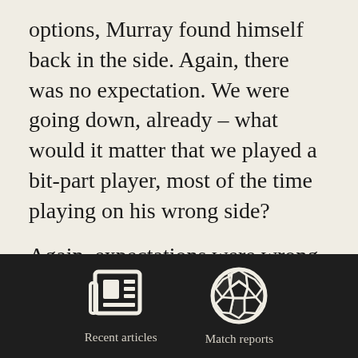options, Murray found himself back in the side. Again, there was no expectation. We were going down, already – what would it matter that we played a bit-part player, most of the time playing on his wrong side?

Again, expectations were wrong.

In the end, City did stay up (on the final day), and Murray excelled in
[Figure (other): Dark footer navigation bar with two icon buttons: 'Recent articles' (newspaper icon) and 'Match reports' (soccer ball icon)]